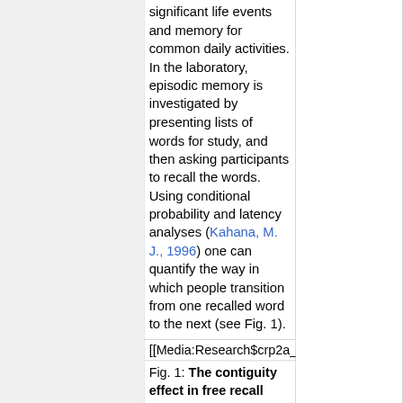significant life events and memory for common daily activities. In the laboratory, episodic memory is investigated by presenting lists of words for study, and then asking participants to recall the words. Using conditional probability and latency analyses (Kahana, M. J., 1996) one can quantify the way in which people transition from one recalled word to the next (see Fig. 1).
[[Media:Research$crp2a_square.jpg|width=
Fig. 1: The contiguity effect in free recall probability of making a recall to serial position following recall of serial position i---that is, t